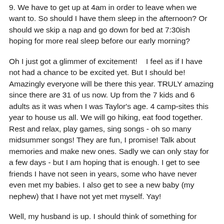9.  We have to get up at 4am in order to leave when we want to.  So should I have them sleep in the afternoon? Or should we skip a nap and go down for bed at 7:30ish hoping for more real sleep before our early morning?
Oh I just got a glimmer of excitement!    I feel as if I have not had a chance to be excited yet.  But I should be!  Amazingly everyone will be there this year.  TRULY amazing since there are 31 of us now.  Up from the 7 kids and 6 adults as it was when I was Taylor's age.  4 camp-sites this year to house us all.  We will go hiking, eat food together.  Rest and relax, play games, sing songs - oh so many midsummer songs!  They are fun, I promise!  Talk about memories and make new ones.  Sadly we can only stay for a few days - but I am hoping that is enough.  I get to see friends I have not seen in years, some who have never even met my babies.  I also get to see a new baby (my nephew) that I have not yet met myself.  Yay!
Well, my husband is up.  I should think of something for breakfast and get kids ready to go.  Say a prayer for our safety - that one adventurous little one doesn't feel the need to run away and explore.  That the nvidia one might learn...